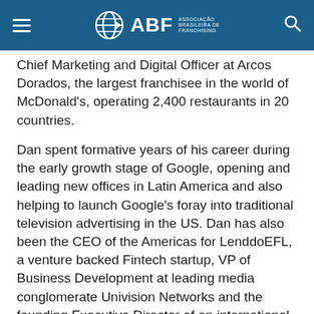ABF - ASSOCIAÇÃO BRASILEIRA DE FRANCHISING
Chief Marketing and Digital Officer at Arcos Dorados, the largest franchisee in the world of McDonald's, operating 2,400 restaurants in 20 countries.
Dan spent formative years of his career during the early growth stage of Google, opening and leading new offices in Latin America and also helping to launch Google's foray into traditional television advertising in the US. Dan has also been the CEO of the Americas for LenddoEFL, a venture backed Fintech startup, VP of Business Development at leading media conglomerate Univision Networks and the founding Executive Director of an international non-profit organization, Forum